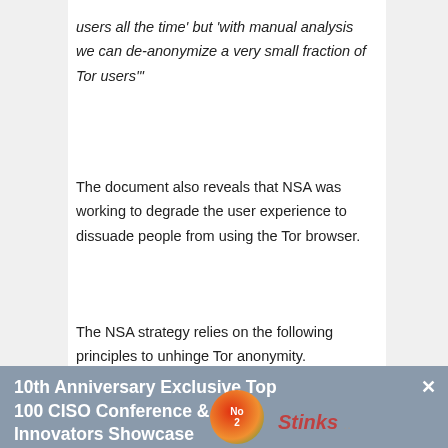users all the time' but 'with manual analysis we can de-anonymize a very small fraction of Tor users'"
The document also reveals that NSA was working to degrade the user experience to dissuade people from using the Tor browser.
The NSA strategy relies on the following principles to unhinge Tor anonymity.
[Figure (other): Orange banner bar reading 'TOP SECRET//COMINT REL FVEY']
10th Anniversary Exclusive Top 100 CISO Conference & Innovators Showcase